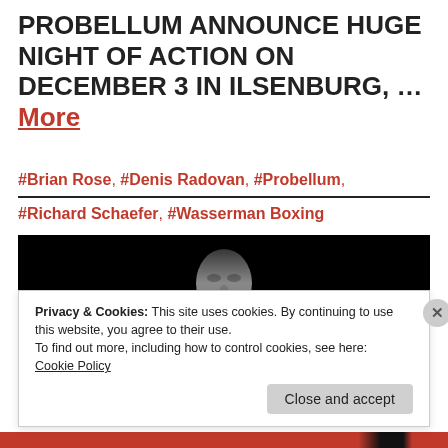PROBELLUM ANNOUNCE HUGE NIGHT OF ACTION ON DECEMBER 3 IN ILSENBURG, ... More
#Brian Rose, #Denis Radovan, #Probellum, #Richard Schaefer, #Wasserman Boxing
[Figure (photo): Black and white photograph of a male boxer against a dark background, face centered in frame]
Privacy & Cookies: This site uses cookies. By continuing to use this website, you agree to their use.
To find out more, including how to control cookies, see here: Cookie Policy
Close and accept